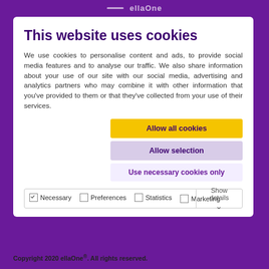This website uses cookies
We use cookies to personalise content and ads, to provide social media features and to analyse our traffic. We also share information about your use of our site with our social media, advertising and analytics partners who may combine it with other information that you've provided to them or that they've collected from your use of their services.
Allow all cookies
Allow selection
Use necessary cookies only
| ✓ Necessary | Preferences | Statistics | Show details |
| Marketing |  |  |  |
Copyright 2020 ellaOne®. All rights reserved.